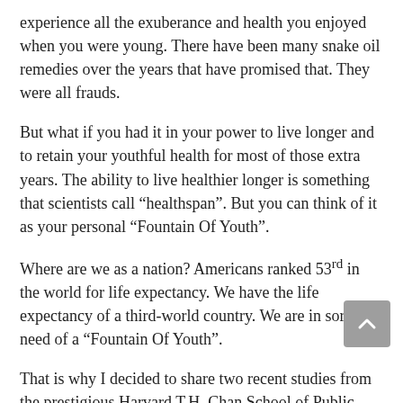experience all the exuberance and health you enjoyed when you were young. There have been many snake oil remedies over the years that have promised that. They were all frauds.
But what if you had it in your power to live longer and to retain your youthful health for most of those extra years. The ability to live healthier longer is something that scientists call “healthspan”. But you can think of it as your personal “Fountain Of Youth”.
Where are we as a nation? Americans ranked 53rd in the world for life expectancy. We have the life expectancy of a third-world country. We are in sore need of a “Fountain Of Youth”.
That is why I decided to share two recent studies from the prestigious Harvard T.H. Chan School of Public